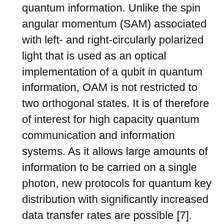quantum information. Unlike the spin angular momentum (SAM) associated with left- and right-circularly polarized light that is used as an optical implementation of a qubit in quantum information, OAM is not restricted to two orthogonal states. It is of therefore of interest for high capacity quantum communication and information systems. As it allows large amounts of information to be carried on a single photon, new protocols for quantum key distribution with significantly increased data transfer rates are possible [7].
In addition to intensity and phase structure, light can also have polarization structure. This fully-structured light (FSL) [8-10] lies at the heart of an emerging and extremely promising field of research with many applications in optics, such as high-resolution microscopy and imaging, optical trapping and manipulation [11, 12], and quantum communication and cryptography [13]. Very recently, we identified the difference in the number of left-